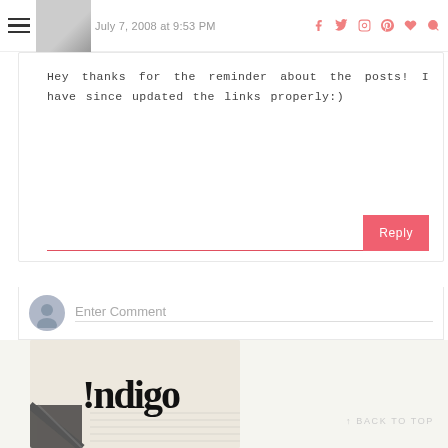July 7, 2008 at 9:53 PM
Hey thanks for the reminder about the posts! I have since updated the links properly:)
Reply
Enter Comment
[Figure (logo): !ndigo brand logo on a cream/beige background with paper texture]
BACK TO TOP